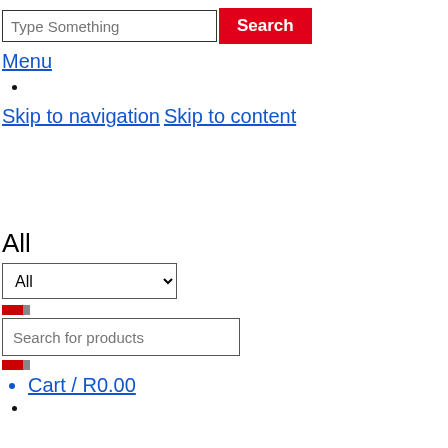[Figure (screenshot): Search bar with text input 'Type Something' and red 'Search' button]
Menu
Skip to navigation  Skip to content
All
[Figure (screenshot): Dropdown select element showing 'All']
[Figure (screenshot): Small red/gray bar icon]
[Figure (screenshot): Search for products input field]
[Figure (screenshot): Small red/gray bar icon]
Cart / R0.00